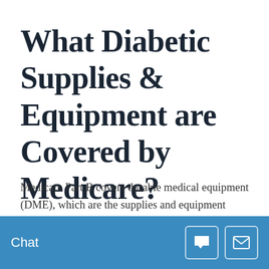What Diabetic Supplies & Equipment are Covered by Medicare?
Medicare Part B covers durable medical equipment (DME), which are the supplies and equipment necessary for the management of diabetes and includes the following